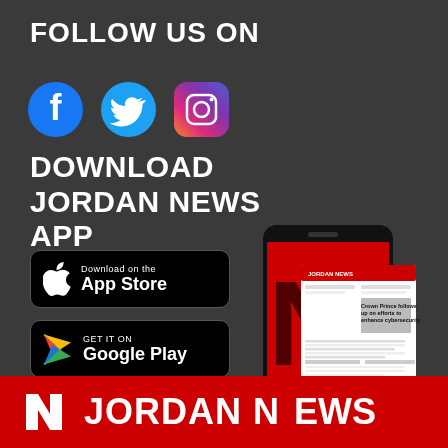FOLLOW US ON
[Figure (infographic): Social media icons: Facebook, Twitter, Instagram]
DOWNLOAD JORDAN NEWS APP
[Figure (infographic): Apple App Store download button]
[Figure (infographic): Google Play Store download button]
[Figure (infographic): Phone mockup showing Jordan News app with newspaper front page visible. Headline: Crown Prince follows up on efforts to enhance cybersecurity]
[Figure (logo): Jordan News logo footer bar with red background, white N logo and JORDAN NEWS text]